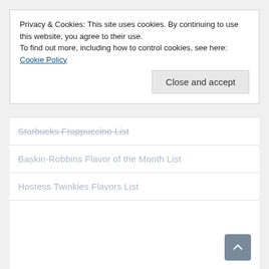Privacy & Cookies: This site uses cookies. By continuing to use this website, you agree to their use.
To find out more, including how to control cookies, see here: Cookie Policy
Close and accept
Starbucks Frappuccino List
Baskin-Robbins Flavor of the Month List
Hostess Twinkies Flavors List